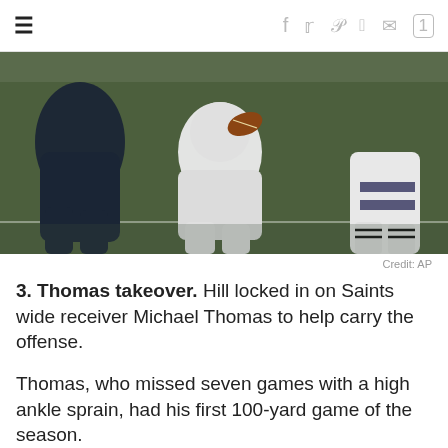≡  f  𝕐  p  reddit  ✉  💬
[Figure (photo): Football players in action during an NFL game, one player in white uniform holding the ball being tackled, green field in background]
Credit: AP
3. Thomas takeover. Hill locked in on Saints wide receiver Michael Thomas to help carry the offense.
Thomas, who missed seven games with a high ankle sprain, had his first 100-yard game of the season.
He had nine catches for 109 yards before the Saints started to run the ball to run out the clock.